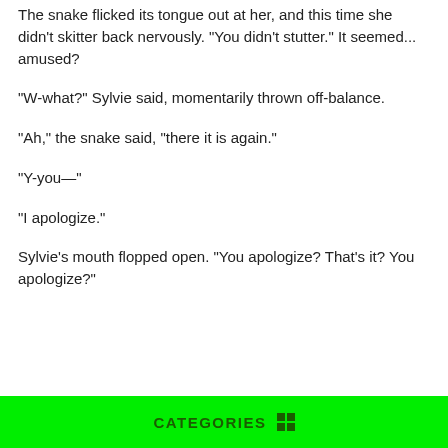The snake flicked its tongue out at her, and this time she didn't skitter back nervously. "You didn't stutter." It seemed... amused?
"W-what?" Sylvie said, momentarily thrown off-balance.
"Ah," the snake said, "there it is again."
"Y-you—"
"I apologize."
Sylvie's mouth flopped open. "You apologize? That's it? You apologize?"
CATEGORIES